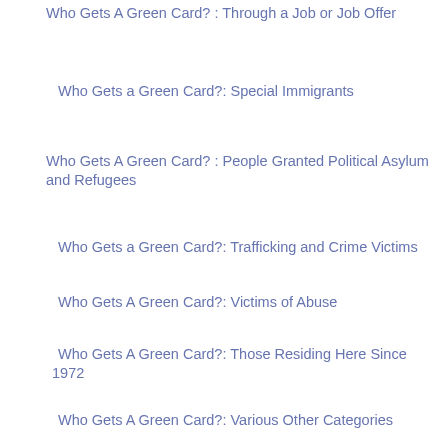Who Gets A Green Card? : Through a Job or Job Offer
Who Gets a Green Card?: Special Immigrants
Who Gets A Green Card? : People Granted Political Asylum and Refugees
Who Gets a Green Card?: Trafficking and Crime Victims
Who Gets A Green Card?: Victims of Abuse
Who Gets A Green Card?: Those Residing Here Since 1972
Who Gets A Green Card?: Various Other Categories
Who Gets A Green Card?: Amnesty
Who Gets A Green Card? : Through Family Relationships
PERMANENT RESIDENCY (GREEN CARDS) LETS TALK ABOUT HOW YOU